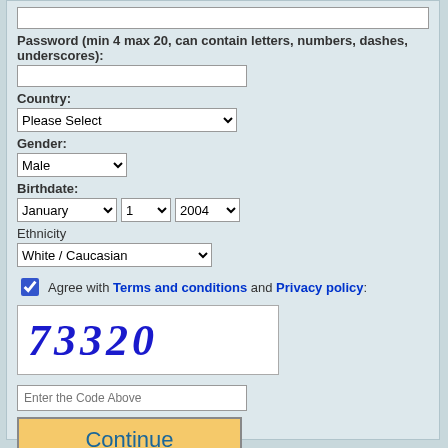Password (min 4 max 20, can contain letters, numbers, dashes, underscores):
Country:
Gender:
Birthdate:
Ethnicity
Agree with Terms and conditions and Privacy policy:
[Figure (other): CAPTCHA image showing the number 73320 in large bold italic blue text on white background]
Enter the Code Above
Continue
* Free membership has daily limit on messages sent, limited access to profiles of other members and other limitations.